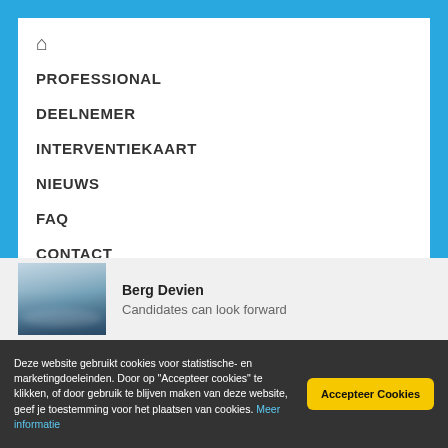🏠 (home icon)
PROFESSIONAL
DEELNEMER
INTERVENTIEKAART
NIEUWS
FAQ
CONTACT
Berg Devien
Candidates can look forward
Deze website gebruikt cookies voor statistische- en marketingdoeleinden. Door op "Accepteer cookies" te klikken, of door gebruik te blijven maken van deze website, geef je toestemming voor het plaatsen van cookies. Meer informatie
Accepteer Cookies